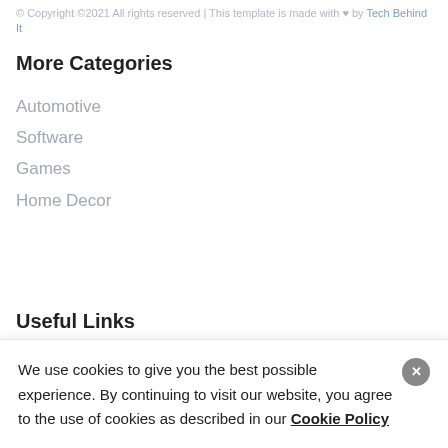© Copyright © 2021 All rights reserved | This template is made with ♥ by Tech Behind It
More Categories
Automotive
Software
Games
Home Decor
Useful Links
We use cookies to give you the best possible experience. By continuing to visit our website, you agree to the use of cookies as described in our Cookie Policy